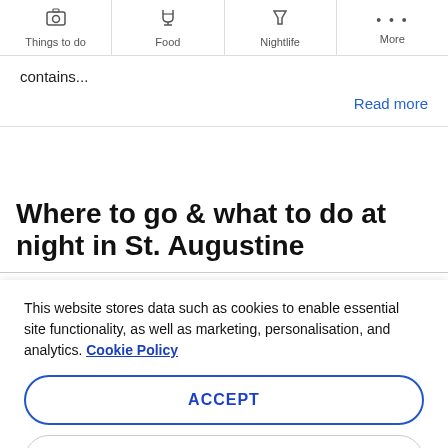Things to do | Food | Nightlife | More
contains...
Read more
Where to go & what to do at night in St. Augustine
This website stores data such as cookies to enable essential site functionality, as well as marketing, personalisation, and analytics. Cookie Policy
ACCEPT